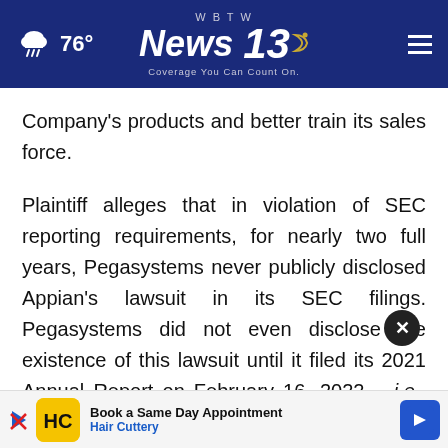76° — WBTW News 13 — Coverage You Can Count On.
Company's products and better train its sales force.
Plaintiff alleges that in violation of SEC reporting requirements, for nearly two full years, Pegasystems never publicly disclosed Appian's lawsuit in its SEC filings. Pegasystems did not even disclose the existence of this lawsuit until it filed its 2021 Annual Report on February 16, 2022 – i.e., just one month before a jury t… h 21,
[Figure (screenshot): Hair Cuttery advertisement banner: 'Book a Same Day Appointment — Hair Cuttery' with logo and navigation arrow]